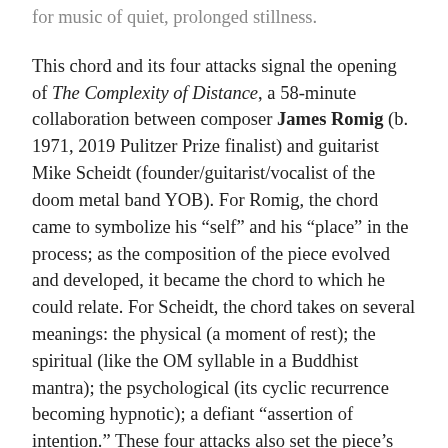for music of quiet, prolonged stillness.
This chord and its four attacks signal the opening of The Complexity of Distance, a 58-minute collaboration between composer James Romig (b. 1971, 2019 Pulitzer Prize finalist) and guitarist Mike Scheidt (founder/guitarist/vocalist of the doom metal band YOB). For Romig, the chord came to symbolize his “self” and his “place” in the process; as the composition of the piece evolved and developed, it became the chord to which he could relate. For Scheidt, the chord takes on several meanings: the physical (a moment of rest); the spiritual (like the OM syllable in a Buddhist mantra); the psychological (its cyclic recurrence becoming hypnotic); a defiant “assertion of intention.” These four attacks also set the piece’s formal and harmonic structure into motion. The Complexity of Distance is completely built upon a 13:14:15 ratio, which Romig describes in the program notes:
“The work’s formal structure comprises three simultaneously